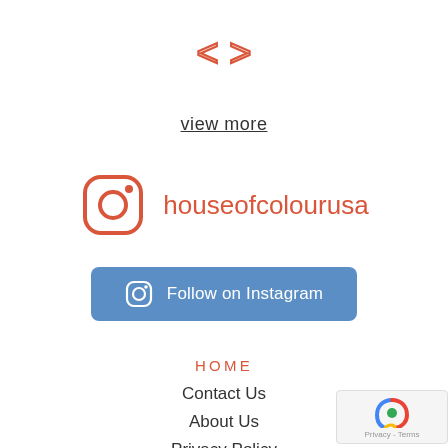[Figure (illustration): Red/salmon colored code brackets icon: < >]
view more
[Figure (logo): Instagram icon (camera outline in coral/red) followed by text 'houseofcolourusa' in coral/red color]
[Figure (other): Blue button with Instagram camera icon and text 'Follow on Instagram']
HOME
Contact Us
About Us
Privacy Policy
Terms & Conditions